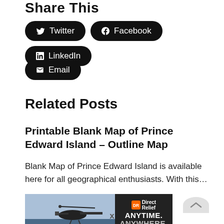Share This
Twitter
Facebook
LinkedIn
Email
Related Posts
Printable Blank Map of Prince Edward Island – Outline Map
Blank Map of Prince Edward Island is available here for all geographical enthusiasts. With this…
[Figure (photo): Advertisement banner showing a helicopter photo with DirectRelief ANYTIME. ANYWHERE. text]